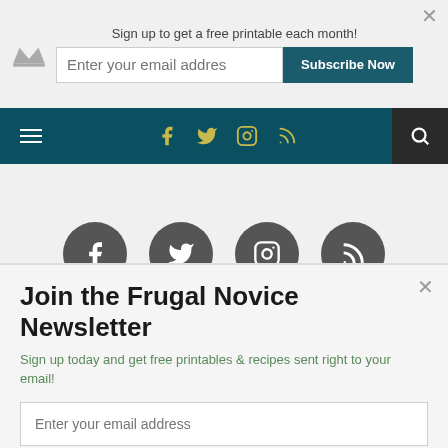[Figure (screenshot): Top subscription banner with crown logo, email input field, Subscribe Now button, and close X]
[Figure (screenshot): Navigation bar with hamburger menu, social icons (facebook, twitter, instagram, rss) in olive/yellow, and dark search box]
[Figure (screenshot): Social media circle icons in gray: facebook, twitter, instagram, rss]
[Figure (screenshot): Dark teal bar with Powered by SUMO badge in white rounded pill]
Join the Frugal Novice Newsletter
Sign up today and get free printables & recipes sent right to your email!
[Figure (screenshot): Email input field with placeholder 'Enter your email address' and Subscribe Now button]